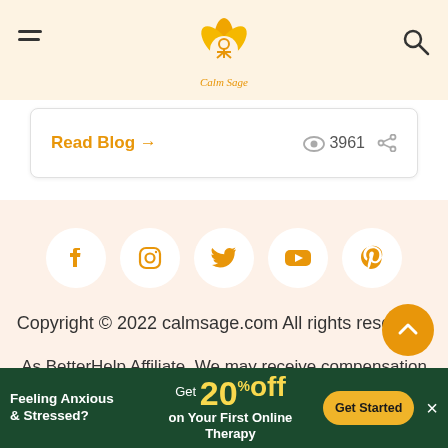Calm Sage header with hamburger menu and search icon
Read Blog →  👁 3961  ⤷
[Figure (other): Social media icons row: Facebook, Instagram, Twitter, YouTube, Pinterest — white circles with orange icons on peach background]
Copyright © 2022 calmsage.com All rights reserved.
As BetterHelp Affiliate, We may receive compensation from BetterHelp or other sources if you purchase products or services
Feeling Anxious & Stressed? Get 20% Off on Your First Online Therapy  Get Started  ×